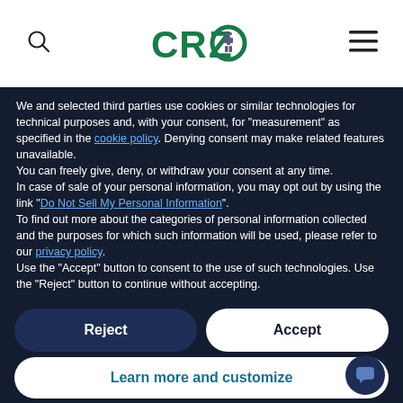[Figure (logo): CROZ company logo in green bold text with an icon in the letter O]
We and selected third parties use cookies or similar technologies for technical purposes and, with your consent, for "measurement" as specified in the cookie policy. Denying consent may make related features unavailable.
You can freely give, deny, or withdraw your consent at any time.
In case of sale of your personal information, you may opt out by using the link "Do Not Sell My Personal Information".
To find out more about the categories of personal information collected and the purposes for which such information will be used, please refer to our privacy policy.
Use the "Accept" button to consent to the use of such technologies. Use the "Reject" button to continue without accepting.